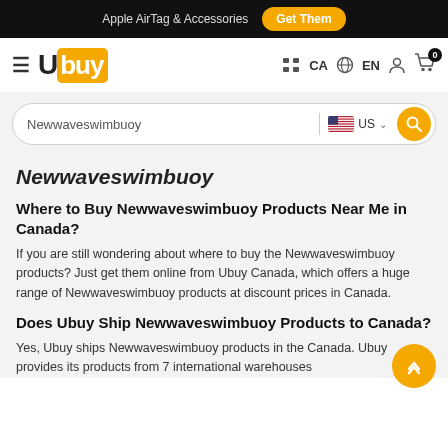Apple AirTag & Accessories  Get Them
Ubuy CA EN
Newwaveswimbuoy   US
Newwaveswimbuoy
Where to Buy Newwaveswimbuoy Products Near Me in Canada?
If you are still wondering about where to buy the Newwaveswimbuoy products? Just get them online from Ubuy Canada, which offers a huge range of Newwaveswimbuoy products at discount prices in Canada.
Does Ubuy Ship Newwaveswimbuoy Products to Canada?
Yes, Ubuy ships Newwaveswimbuoy products in the Canada. Ubuy provides its products from 7 international warehouses